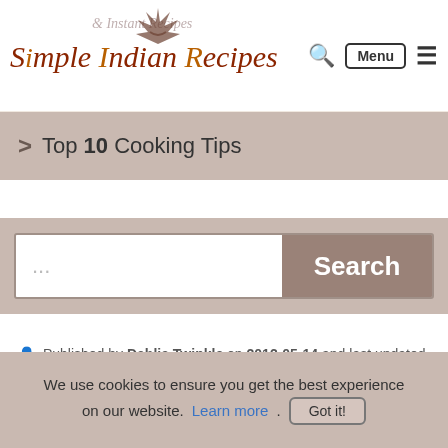Simple Indian Recipes - logo and navigation header with Menu button
> Top 10 Cooking Tips
... Search
Published by Dahlia Twinkle on 2012-05-14 and last updated on 2016-07-15.
We use cookies to ensure you get the best experience on our website. Learn more. Got it!